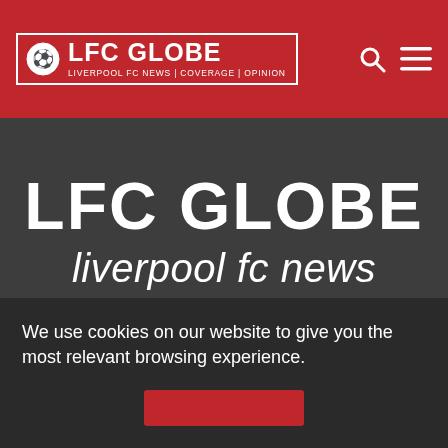LFC GLOBE | LIVERPOOL FC NEWS | COVERAGE | OPINION
LFC GLOBE
liverpool fc news
[Figure (infographic): Three social media icon buttons: Facebook, Twitter, RSS feed, displayed as rounded square icons on dark background]
LIVERPOOL FC NEWS
LIVERPOOL FC VIDEOS
We use cookies on our website to give you the most relevant browsing experience.